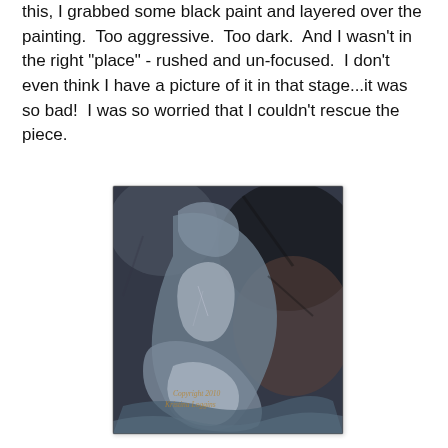this, I grabbed some black paint and layered over the painting.  Too aggressive.  Too dark.  And I wasn't in the right "place" - rushed and un-focused.  I don't even think I have a picture of it in that stage...it was so bad!  I was so worried that I couldn't rescue the piece.
[Figure (illustration): A figurative painting in dark blue-grey tones showing a reclining nude figure, heavily textured with black and grey paint. Copyright watermark reads 'Copyright 2010 Kristina Loggins' in faded orange text at the bottom of the painting.]